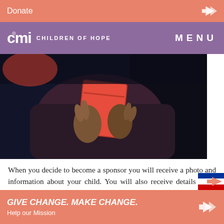Donate
cmi CHILDREN OF HOPE   MENU
[Figure (photo): Close-up photo of a child's hands holding a red book/object, wearing dark clothing. White gap on right side.]
When you decide to become a sponsor you will receive a photo and information about your child. You will also receive details about how to set up a standing order with your bank, enabling payments to be made regularly each month. We include a gift aid form to allow us to claim the tax back on your donation if you are a UK tax payer. This is used to the benefit of all the
GIVE CHANGE. MAKE CHANGE. Help our Mission